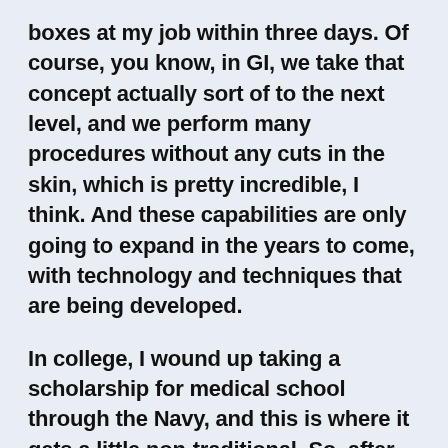boxes at my job within three days. Of course, you know, in GI, we take that concept actually sort of to the next level, and we perform many procedures without any cuts in the skin, which is pretty incredible, I think. And these capabilities are only going to expand in the years to come, with technology and techniques that are being developed.
In college, I wound up taking a scholarship for medical school through the Navy, and this is where it gets a little non-traditional. So, after graduating from medical school, I completed my residency training in internal medicine, with the Navy. And then I spent several years in practice, to fulfill the terms of my commitment, before returning to training in gastroenterology.
I know I wanted to specialize in gastroenterology